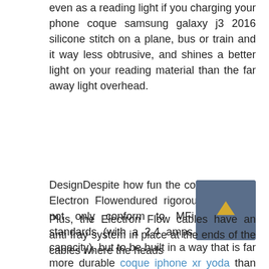even as a reading light if you charging your phone coque samsung galaxy j3 2016 silicone stitch on a plane, bus or train and it way less obtrusive, and shines a better light on your reading material than the far away light overhead.
DesignDespite how fun the cord looks, the Electron Flowendured rigorous testing to not only conform to MFi and USB standards (with a 2.4 amps of charging capacity), but to be built in a way that is far more durable coque iphone xr yoda than the stock cables you get. The cable heads on the USB and Lightning connectors are thicker and stronger than the standard ones you would find on the ones that come with your phone since they wrapped in see through PVC in whatever color you choose to snag them in.
[Figure (other): Small dark blue/slate square button with an upward-pointing yellow arrow chevron, likely a scroll-to-top button]
Plus, the Electron Flow cables have an anti fray system in place at the ends of the cables where the heads